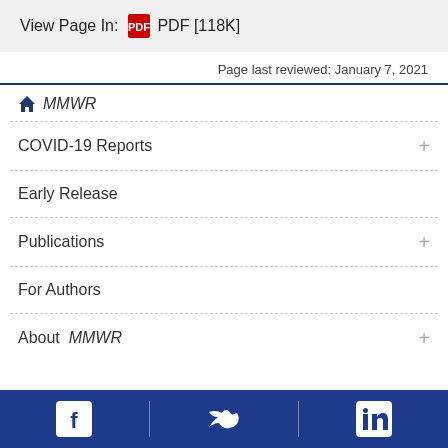View Page In:   PDF [118K]
Page last reviewed: January 7, 2021
MMWR
COVID-19 Reports
Early Release
Publications
For Authors
About  MMWR
Facebook | Twitter | LinkedIn